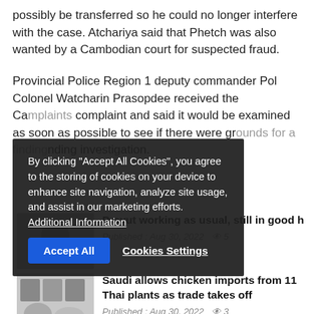possibly be transferred so he could no longer interfere with the case. Atchariya said that Phetch was also wanted by a Cambodian court for suspected fraud.
Provincial Police Region 1 deputy commander Pol Colonel Watcharin Prasopdee received the Ca[mplaints] complaint and said it would be examined as soon as possible to see if there were gr[ounds for a finding] nding investigation.
[Figure (screenshot): Cookie consent overlay popup with text: By clicking "Accept All Cookies", you agree to the storing of cookies on your device to enhance site navigation, analyze site usage, and assist in our marketing efforts. Additional Information. Buttons: Accept All, Cookies Settings.]
Prayut working as usual, still in good h[ealth]
Published : Aug 30, 2022  5
[Figure (photo): Thumbnail image showing people in formal dress, Saudi/Thai trade meeting.]
Saudi allows chicken imports from 11 Thai plants as trade takes off
Published : Aug 30, 2022  3